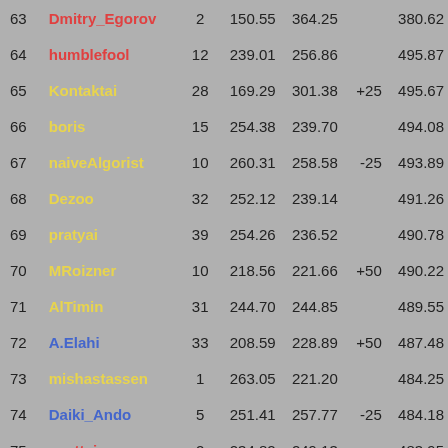| # | Name | N | Score1 | Score2 | Bonus | Total |
| --- | --- | --- | --- | --- | --- | --- |
| 63 | Dmitry_Egorov | 2 | 150.55 | 364.25 |  | 380.62 |
| 64 | humblefool | 12 | 239.01 | 256.86 |  | 495.87 |
| 65 | Kontaktai | 28 | 169.29 | 301.38 | +25 | 495.67 |
| 66 | boris | 15 | 254.38 | 239.70 |  | 494.08 |
| 67 | naiveAlgorist | 10 | 260.31 | 258.58 | -25 | 493.89 |
| 68 | Dezoo | 32 | 252.12 | 239.14 |  | 491.26 |
| 69 | pratyai | 39 | 254.26 | 236.52 |  | 490.78 |
| 70 | MRoizner | 10 | 218.56 | 221.66 | +50 | 490.22 |
| 71 | AlTimin | 31 | 244.70 | 244.85 |  | 489.55 |
| 72 | A.Elahi | 33 | 208.59 | 228.89 | +50 | 487.48 |
| 73 | mishastassen | 1 | 263.05 | 221.20 |  | 484.25 |
| 74 | Daiki_Ando | 5 | 251.41 | 257.77 | -25 | 484.18 |
| 75 | scottai | 2 | 234.82 | 249.13 |  | 483.95 |
| 76 | mochavic | 32 | 194.09 | 289.46 |  | 483.55 |
| 77 | ysyshtc | 45 | 199.99 | 232.55 | +50 | 482.54 |